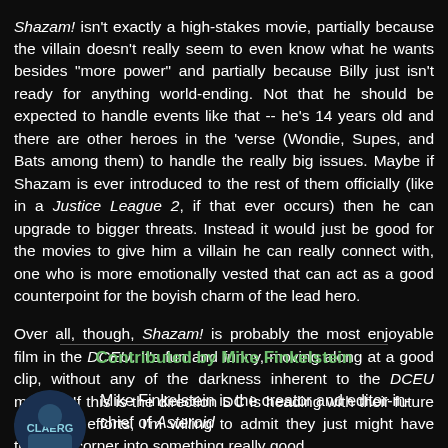Shazam! isn't exactly a high-stakes movie, partially because the villain doesn't really seem to even know what he wants besides "more power" and partially because Billy just isn't ready for anything world-ending. Not that he should be expected to handle events like that -- he's 14 years old and there are other heroes in the 'verse (Wondie, Supes, and Bats among them) to handle the really big issues. Maybe if Shazam is ever introduced to the rest of them officially (like in a Justice League 2, if that ever occurs) then he can upgrade to bigger threats. Instead it would just be good for the movies to give him a villain he can really connect with, one who is more emotionally vested that can act as a good counterpoint for the boyish charm of the lead hero.
Over all, though, Shazam! is probably the most enjoyable film in the DCEU. It's fun and funny, moving along at a good clip, without any of the darkness inherent to the DCEU movies. If this is the direction DC is heading with their future cinematic efforts, I'm willing to admit they just might have turned a corner into something really good.
Contributed by Mike Finkelstein
Mike Finkelstein is the creator and editor-in-chief of Asteroid